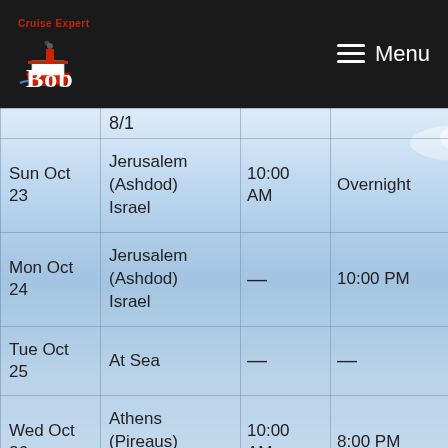Cruise Expert Bob — Menu
| Date | Port | Arrive | Depart |
| --- | --- | --- | --- |
|  | 8/1 |  |  |
| Sun Oct 23 | Jerusalem (Ashdod) Israel | 10:00 AM | Overnight |
| Mon Oct 24 | Jerusalem (Ashdod) Israel | — | 10:00 PM |
| Tue Oct 25 | At Sea | — | — |
| Wed Oct 26 | Athens (Pireaus) G... | 10:00 AM | 8:00 PM |